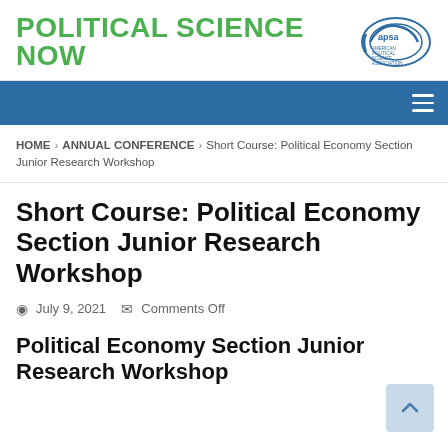POLITICAL SCIENCE NOW
[Figure (logo): APSA (American Political Science Association) circular logo in blue]
HOME > ANNUAL CONFERENCE > Short Course: Political Economy Section Junior Research Workshop
Short Course: Political Economy Section Junior Research Workshop
July 9, 2021  Comments Off
Political Economy Section Junior Research Workshop